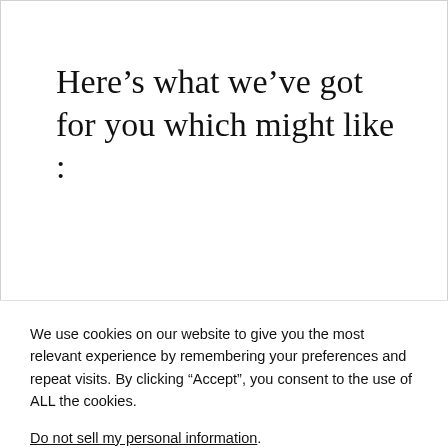Here's what we've got for you which might like :
ARTICLES RELATED TO VIRTUALIZATION : A HOLISTIC APPROACH
We use cookies on our website to give you the most relevant experience by remembering your preferences and repeat visits. By clicking “Accept”, you consent to the use of ALL the cookies.
Do not sell my personal information.